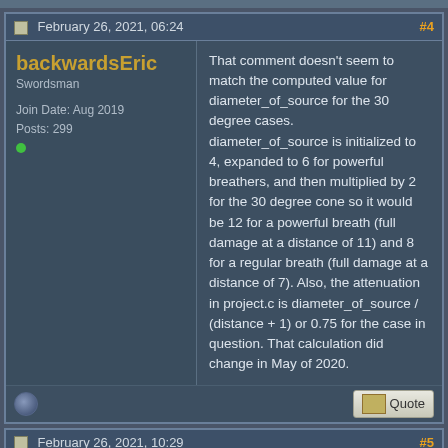February 26, 2021, 06:24 | #4
backwardsEric
Swordsman
Join Date: Aug 2019
Posts: 299
That comment doesn't seem to match the computed value for diameter_of_source for the 30 degree cases. diameter_of_source is initialized to 4, expanded to 6 for powerful breathers, and then multiplied by 2 for the 30 degree cone so it would be 12 for a powerful breath (full damage at a distance of 11) and 8 for a regular breath (full damage at a distance of 7). Also, the attenuation in project.c is diameter_of_source / (distance + 1) or 0.75 for the case in question. That calculation did change in May of 2020.
February 26, 2021, 10:29 | #5
Nick
Vanilla maintainer
Quote:
Originally Posted by backwardsEric
That comment doesn't